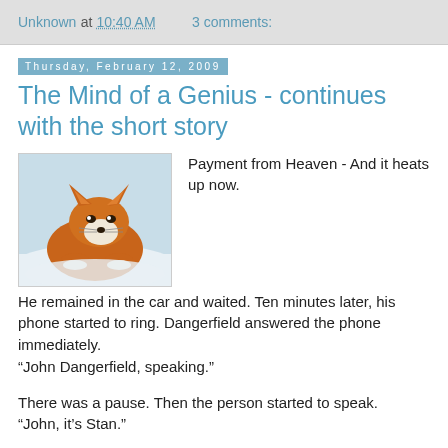Unknown at 10:40 AM    3 comments:
The Mind of a Genius - continues with the short story
[Figure (photo): A red fox resting in snow, seen from the front, with orange-red fur and white underbelly.]
Payment from Heaven - And it heats up now.

He remained in the car and waited. Ten minutes later, his phone started to ring. Dangerfield answered the phone immediately. “John Dangerfield, speaking.”

There was a pause. Then the person started to speak. “John, it’s Stan.”

Dangerfield was very disappointed as he recognised his friend’s voice, and suddenly noticed his number on his